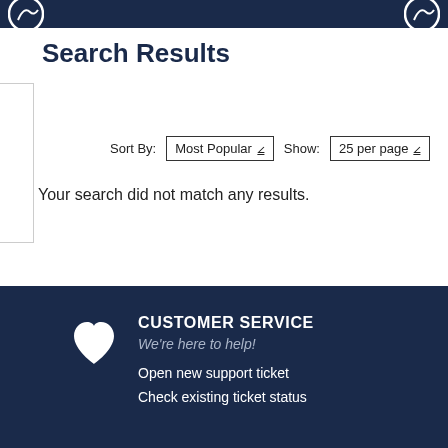Search Results
Sort By: Most Popular  Show: 25 per page
Your search did not match any results.
CUSTOMER SERVICE
We're here to help!
Open new support ticket
Check existing ticket status